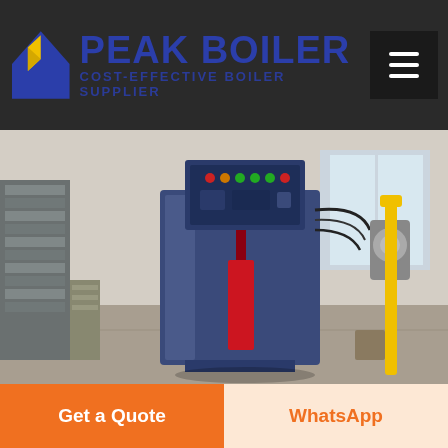PEAK BOILER — COST-EFFECTIVE BOILER SUPPLIER
[Figure (photo): Industrial boiler equipment in a factory setting. A vertical blue boiler unit with red pipe stand and attached electrical control panel with colorful indicator lights is shown in a warehouse/factory environment. Yellow safety rail visible on the right.]
DEALER 8T OIL CONDENSING BOILER INDUSTRIAL
10 Ton Manufacturers Commercial Boiler Brand Georgia. 20 Ton Gas Boiler Machine Commercial Georgia. 20 Ton Gas
Get a Quote | WhatsApp